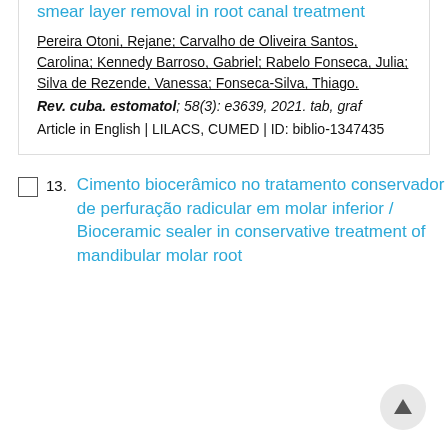smear layer removal in root canal treatment
Pereira Otoni, Rejane; Carvalho de Oliveira Santos, Carolina; Kennedy Barroso, Gabriel; Rabelo Fonseca, Julia; Silva de Rezende, Vanessa; Fonseca-Silva, Thiago.
Rev. cuba. estomatol; 58(3): e3639, 2021. tab, graf
Article in English | LILACS, CUMED | ID: biblio-1347435
13. Cimento biocerâmico no tratamento conservador de perfuração radicular em molar inferior / Bioceramic sealer in conservative treatment of mandibular molar root